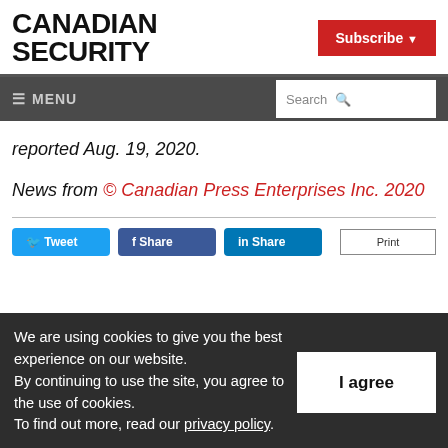CANADIAN SECURITY
Subscribe
≡ MENU  Search
reported Aug. 19, 2020.
News from © Canadian Press Enterprises Inc. 2020
We are using cookies to give you the best experience on our website. By continuing to use the site, you agree to the use of cookies. To find out more, read our privacy policy.